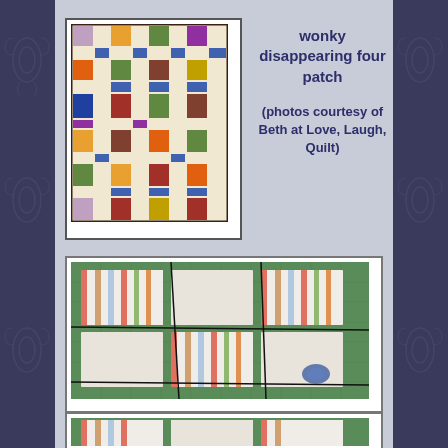[Figure (photo): Completed quilt with colorful patchwork grid pattern — wonky disappearing four patch design. Multicolored squares and rectangles in cream, orange, green, blue, purple, red, brown arranged in a grid with sashing.]
wonky disappearing four patch
(photos courtesy of Beth at Love, Laugh, Quilt)
[Figure (photo): Fabric pieces for the wonky disappearing four patch cut on a green cutting mat. Striped fabric squares and white/cream fabric squares arranged in a 3x3 grid layout on a cutting mat, with scissors visible.]
[Figure (photo): Partial view of another step in the quilt-making process — bottom of page, cut off.]